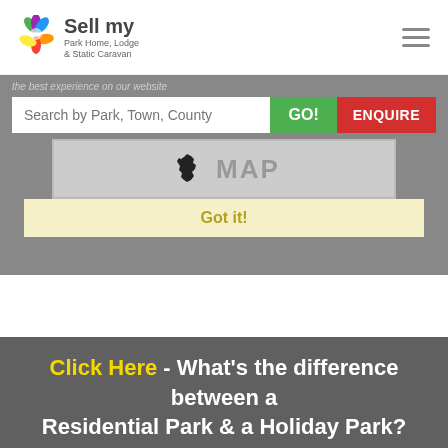[Figure (logo): Sell my Park Home, Lodge & Static Caravan logo with colorful flower icon]
the best experience on our website
Search by Park, Town, County | GO! | ENQUIRE
[Figure (map): Map of England silhouette with MAP label]
Got it!
Click Here - What's the difference between a Residential Park & a Holiday Park?
Contact